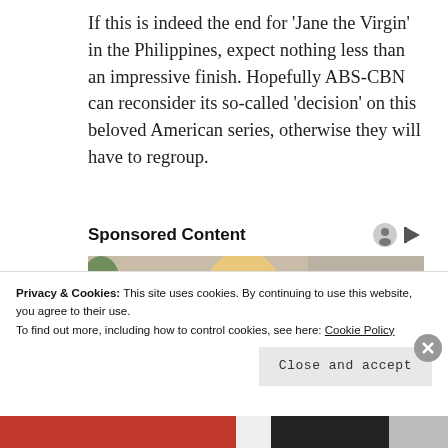If this is indeed the end for ‘Jane the Virgin’ in the Philippines, expect nothing less than an impressive finish. Hopefully ABS-CBN can reconsider its so-called ‘decision’ on this beloved American series, otherwise they will have to regroup.
Sponsored Content
[Figure (photo): Photo of a blond woman looking downward, wearing a yellow top, with a plant in the background.]
Privacy & Cookies: This site uses cookies. By continuing to use this website, you agree to their use.
To find out more, including how to control cookies, see here: Cookie Policy
Close and accept